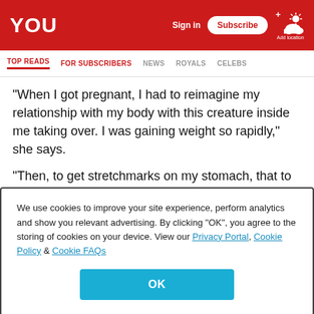YOU | Sign in | Subscribe | Add location
TOP READS | FOR SUBSCRIBERS | NEWS | ROYALS | CELEBS
“When I got pregnant, I had to reimagine my relationship with my body with this creature inside me taking over. I was gaining weight so rapidly,” she says.
“Then, to get stretchmarks on my stomach, that to me was like, ‘Oh my gosh. I can’t believe this happened.’ At first it felt devastating, and then when I met Isaac, I said, ‘No, this is exactly what every woman has talked about for ages.’”
We use cookies to improve your site experience, perform analytics and show you relevant advertising. By clicking “OK”, you agree to the storing of cookies on your device. View our Privacy Portal, Cookie Policy & Cookie FAQs
OK